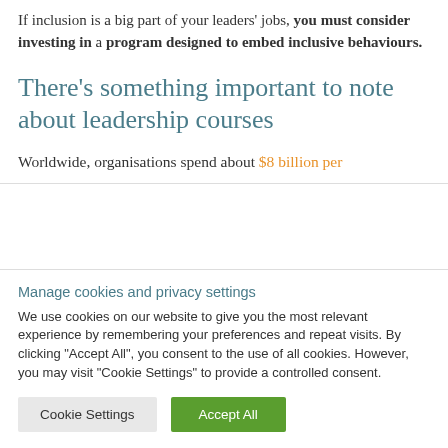If inclusion is a big part of your leaders' jobs, you must consider investing in a program designed to embed inclusive behaviours.
There's something important to note about leadership courses
Worldwide, organisations spend about $8 billion per
Manage cookies and privacy settings
We use cookies on our website to give you the most relevant experience by remembering your preferences and repeat visits. By clicking "Accept All", you consent to the use of all cookies. However, you may visit "Cookie Settings" to provide a controlled consent.
Cookie Settings | Accept All